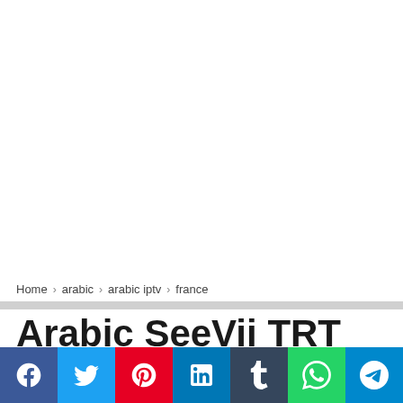Home › arabic › arabic iptv › france
Arabic SeeVii TRT Turkey BeIN Sports France Canal IPTV